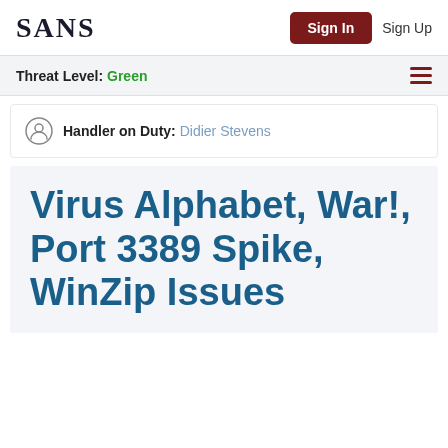SANS | Sign In | Sign Up
Threat Level: Green
Handler on Duty: Didier Stevens
Virus Alphabet, War!, Port 3389 Spike, WinZip Issues